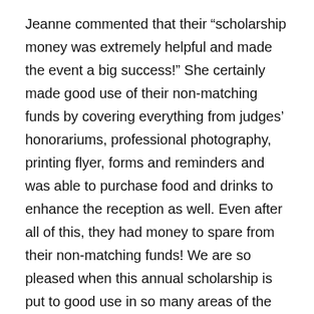Jeanne commented that their “scholarship money was extremely helpful and made the event a big success!” She certainly made good use of their non-matching funds by covering everything from judges’ honorariums, professional photography, printing flyer, forms and reminders and was able to purchase food and drinks to enhance the reception as well. Even after all of this, they had money to spare from their non-matching funds! We are so pleased when this annual scholarship is put to good use in so many areas of the exhibit’s preparation as well as the awards reception.
Jeanne shared that she is already brainstorming